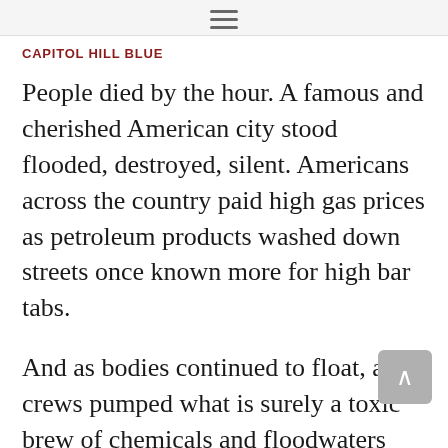≡
CAPITOL HILL BLUE
People died by the hour. A famous and cherished American city stood flooded, destroyed, silent. Americans across the country paid high gas prices as petroleum products washed down streets once known more for high bar tabs.
And as bodies continued to float, as crews pumped what is surely a toxic brew of chemicals and floodwaters into local lakes, journalists and other Americans waited for answers to a whole range of